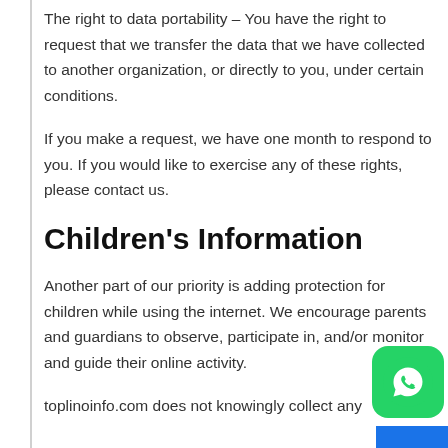The right to data portability – You have the right to request that we transfer the data that we have collected to another organization, or directly to you, under certain conditions.
If you make a request, we have one month to respond to you. If you would like to exercise any of these rights, please contact us.
Children's Information
Another part of our priority is adding protection for children while using the internet. We encourage parents and guardians to observe, participate in, and/or monitor and guide their online activity.
toplinoinfo.com does not knowingly collect any